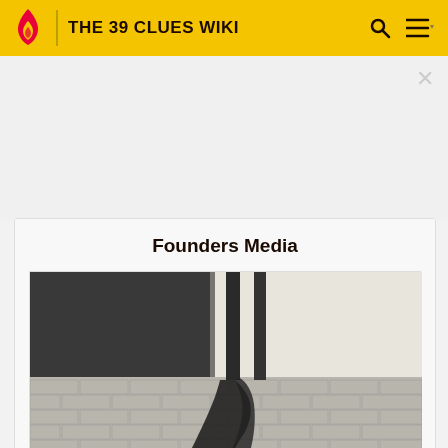THE 39 CLUES WIKI
Founders Media
[Figure (photo): Black and white photograph showing the lower legs and feet of a person standing on a brick/cobblestone pavement, with a strong shadow cast on the ground.]